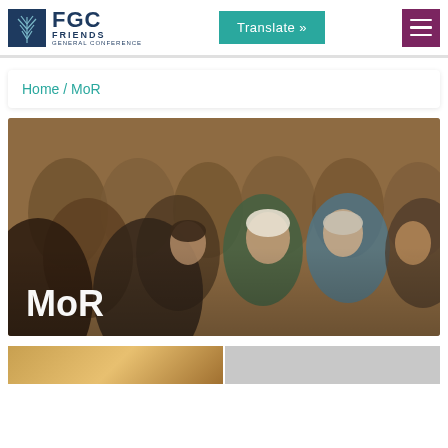FGC Friends General Conference — Translate » [hamburger menu]
Home / MoR
[Figure (photo): Audience of adults seated in rows, listening attentively in a warmly lit room. Text overlay reads 'MoR' in white at bottom left.]